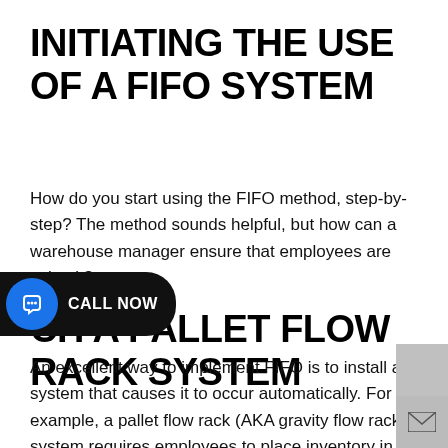INITIATING THE USE OF A FIFO SYSTEM
How do you start using the FIFO method, step-by-step? The method sounds helpful, but how can a warehouse manager ensure that employees are using it?
INSTALL A PALLET FLOW RACK SYSTEM
An excellent way to implement FIFO is to install a system that causes it to occur automatically. For example, a pallet flow rack (AKA gravity flow racking) system requires employees to place inventory in one end of the system and take it out of the other end.